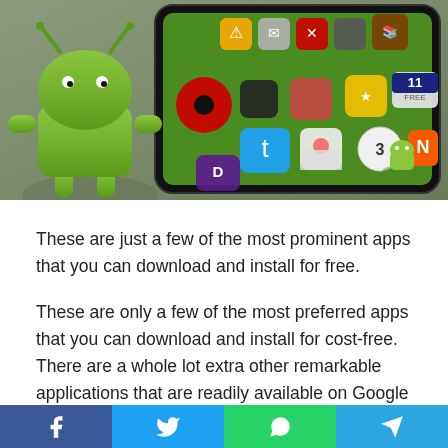[Figure (illustration): Android mascot robot in green standing in front of a tablet device showing a collage of app icons including Twitter, FMI, and various other app icons on a green background]
These are just a few of the most prominent apps that you can download and install for free.
These are only a few of the most preferred apps that you can download and install for cost-free. There are a whole lot extra other remarkable applications that are readily available on Google Play and also various other trustworthy 3rd event application shops such as, Amazon Appstore, apple iphone
[Figure (infographic): Social media sharing bar at bottom with Facebook (blue), Twitter (light blue), WhatsApp (green), and Telegram (blue) icons]